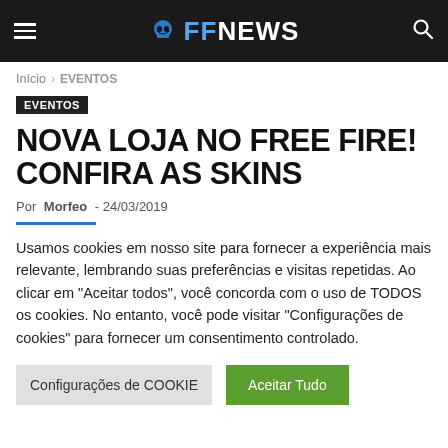FF NEWS
Início › EVENTOS
EVENTOS
NOVA LOJA NO FREE FIRE! CONFIRA AS SKINS
Por Morfeo - 24/03/2019
Usamos cookies em nosso site para fornecer a experiência mais relevante, lembrando suas preferências e visitas repetidas. Ao clicar em "Aceitar todos", você concorda com o uso de TODOS os cookies. No entanto, você pode visitar "Configurações de cookies" para fornecer um consentimento controlado.
Configurações de COOKIE | Aceitar Tudo